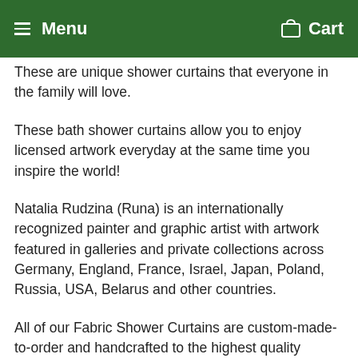Menu  Cart
These are unique shower curtains that everyone in the family will love.
These bath shower curtains allow you to enjoy licensed artwork everyday at the same time you inspire the world!
Natalia Rudzina (Runa) is an internationally recognized painter and graphic artist with artwork featured in galleries and private collections across Germany, England, France, Israel, Japan, Poland, Russia, USA, Belarus and other countries.
All of our Fabric Shower Curtains are custom-made-to-order and handcrafted to the highest quality standards.
Each of these cool shower curtains is constructed with a premium polyester waterproof material for maximum color